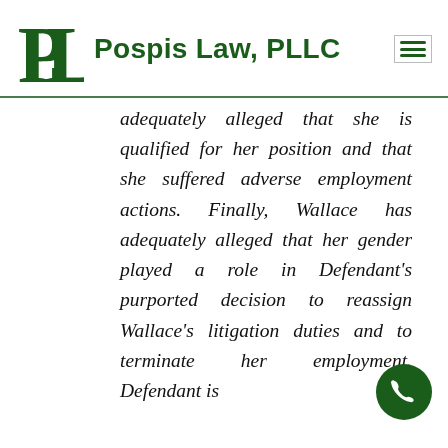Pospis Law, PLLC
adequately alleged that she is qualified for her position and that she suffered adverse employment actions. Finally, Wallace has adequately alleged that her gender played a role in Defendant's purported decision to reassign Wallace's litigation duties and to terminate her employment. Defendant is